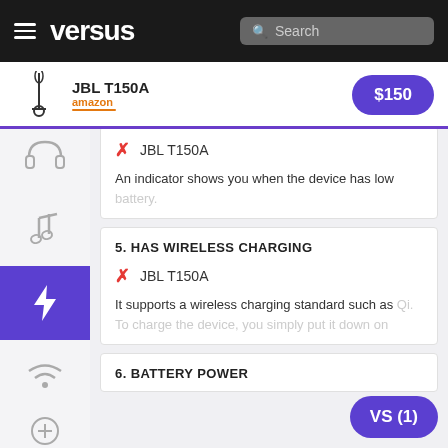versus — Search — JBL T150A — $150 — amazon
JBL T150A
An indicator shows you when the device has low battery.
5. HAS WIRELESS CHARGING
JBL T150A
It supports a wireless charging standard such as Qi. To charge the device, you simply put it down on
6. BATTERY POWER